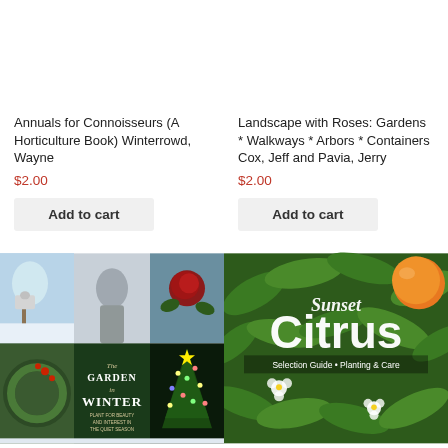Annuals for Connoisseurs (A Horticulture Book) Winterrowd, Wayne
$2.00
Add to cart
Landscape with Roses: Gardens * Walkways * Arbors * Containers Cox, Jeff and Pavia, Jerry
$2.00
Add to cart
[Figure (photo): Book cover: The Garden in Winter - collage of winter garden photos including snowy scenes, a red camellia, a wreath, a lit Christmas tree, and a stone statue]
[Figure (photo): Book cover: Sunset Citrus - Selection Guide, Planting & Care, with green citrus leaves and fruit]